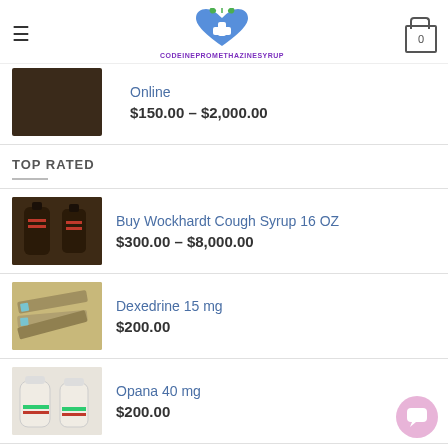CODEINEPROMETHAZINESYRUP
Online $150.00 – $2,000.00
TOP RATED
Buy Wockhardt Cough Syrup 16 OZ $300.00 – $8,000.00
Dexedrine 15 mg $200.00
Opana 40 mg $200.00